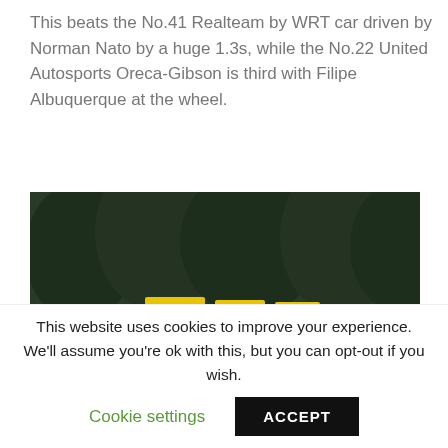This beats the No.41 Realteam by WRT car driven by Norman Nato by a huge 1.3s, while the No.22 United Autosports Oreca-Gibson is third with Filipe Albuquerque at the wheel.
[Figure (photo): A blue LMP prototype race car navigating a circuit corner, with green trees and yellow advertising boards in the background.]
This website uses cookies to improve your experience. We'll assume you're ok with this, but you can opt-out if you wish.